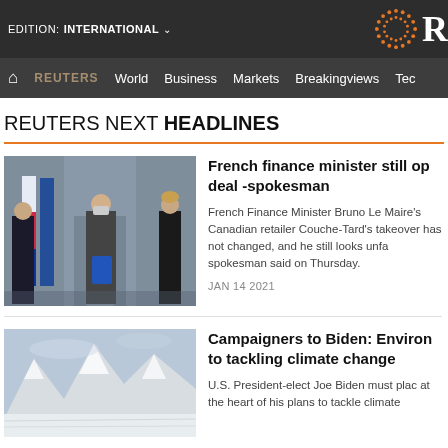EDITION: INTERNATIONAL
REUTERS | World | Business | Markets | Breakingviews | Tech
REUTERS NEXT HEADLINES
[Figure (photo): French officials in formal dress with masks standing in front of a building]
French finance minister still op deal -spokesman
French Finance Minister Bruno Le Maire's Canadian retailer Couche-Tard's takeover has not changed, and he still looks unfa spokesman said on Thursday.
JAN 14 2021
[Figure (photo): Snow-covered mountains landscape]
Campaigners to Biden: Environ to tackling climate change
U.S. President-elect Joe Biden must plac at the heart of his plans to tackle climate